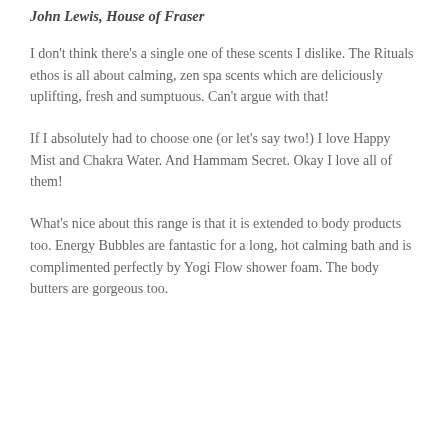John Lewis, House of Fraser
I don't think there's a single one of these scents I dislike. The Rituals ethos is all about calming, zen spa scents which are deliciously uplifting, fresh and sumptuous. Can't argue with that!
If I absolutely had to choose one (or let's say two!) I love Happy Mist and Chakra Water. And Hammam Secret. Okay I love all of them!
What's nice about this range is that it is extended to body products too. Energy Bubbles are fantastic for a long, hot calming bath and is complimented perfectly by Yogi Flow shower foam. The body butters are gorgeous too.